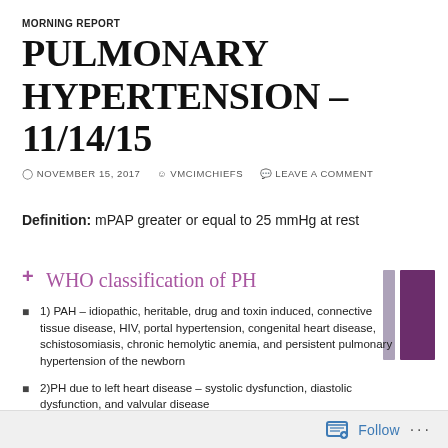MORNING REPORT
PULMONARY HYPERTENSION – 11/14/15
NOVEMBER 15, 2017  VMCIMCHIEFS  LEAVE A COMMENT
Definition: mPAP greater or equal to 25 mmHg at rest
WHO classification of PH
1) PAH – idiopathic, heritable, drug and toxin induced, connective tissue disease, HIV, portal hypertension, congenital heart disease, schistosomiasis, chronic hemolytic anemia, and persistent pulmonary hypertension of the newborn
2)PH due to left heart disease – systolic dysfunction, diastolic dysfunction, and valvular disease
3) PH due to lung disease or hypoxia – COPD, ILD, pulmonary disease with mixed restrictive/obstructive pattern, sleep-disordered breathing, alveolar hypoventilation disorders,
Follow ...